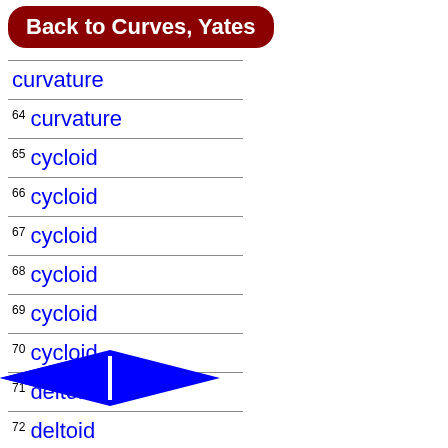Back to Curves, Yates
curvature
64 curvature
65 cycloid
66 cycloid
67 cycloid
68 cycloid
69 cycloid
70 cycloid
71 deltoid
72 deltoid
73 deltoid
[Figure (illustration): Blue left-pointing diamond/arrow navigation icon at bottom left]